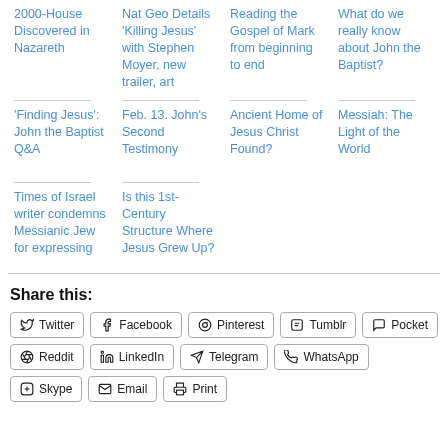2000-House Discovered in Nazareth
Nat Geo Details 'Killing Jesus' with Stephen Moyer, new trailer, art
Reading the Gospel of Mark from beginning to end
What do we really know about John the Baptist?
'Finding Jesus': John the Baptist Q&A
Feb. 13. John's Second Testimony
Ancient Home of Jesus Christ Found?
Messiah: The Light of the World
Times of Israel writer condemns Messianic Jew for expressing
Is this 1st-Century Structure Where Jesus Grew Up?
Share this:
Twitter
Facebook
Pinterest
Tumblr
Pocket
Reddit
LinkedIn
Telegram
WhatsApp
Skype
Email
Print